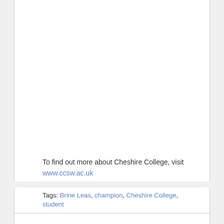To find out more about Cheshire College, visit www.ccsw.ac.uk
Tags: Brine Leas, champion, Cheshire College, student
Tweet
One Comment